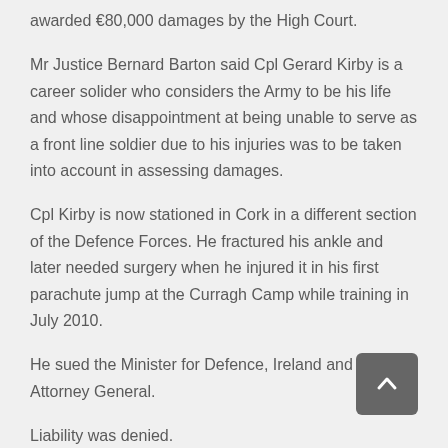awarded €80,000 damages by the High Court.
Mr Justice Bernard Barton said Cpl Gerard Kirby is a career solider who considers the Army to be his life and whose disappointment at being unable to serve as a front line soldier due to his injuries was to be taken into account in assessing damages.
Cpl Kirby is now stationed in Cork in a different section of the Defence Forces. He fractured his ankle and later needed surgery when he injured it in his first parachute jump at the Curragh Camp while training in July 2010.
He sued the Minister for Defence, Ireland and the Attorney General.
Liability was denied.